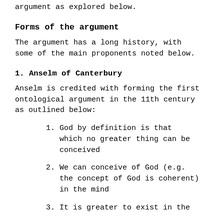argument as explored below.
Forms of the argument
The argument has a long history, with some of the main proponents noted below.
1. Anselm of Canterbury
Anselm is credited with forming the first ontological argument in the 11th century as outlined below:
1. God by definition is that which no greater thing can be conceived
2. We can conceive of God (e.g. the concept of God is coherent) in the mind
3. It is greater to exist in the